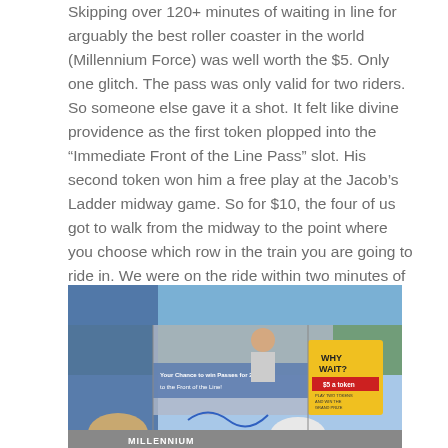Skipping over 120+ minutes of waiting in line for arguably the best roller coaster in the world (Millennium Force) was well worth the $5. Only one glitch. The pass was only valid for two riders. So someone else gave it a shot. It felt like divine providence as the first token plopped into the “Immediate Front of the Line Pass” slot. His second token won him a free play at the Jacob’s Ladder midway game. So for $10, the four of us got to walk from the midway to the point where you choose which row in the train you are going to ride in. We were on the ride within two minutes of redeeming our passes.
[Figure (photo): Outdoor photo at an amusement park showing a midway game booth with a sign reading 'Your Chance to win Passes for 2 to the Front of the Line!' and a yellow sign reading 'WHY WAIT? $5 a token'. A person stands at the booth while others are visible in the foreground. Trees and blue sky are visible in the background. The bottom of the image shows the top of a ride structure labeled 'MILLENNIUM'.]